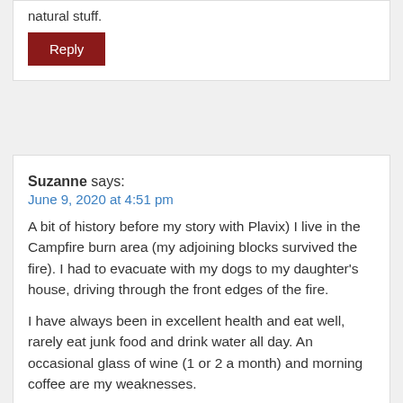natural stuff.
Reply
Suzanne says:
June 9, 2020 at 4:51 pm
A bit of history before my story with Plavix) I live in the Campfire burn area (my adjoining blocks survived the fire). I had to evacuate with my dogs to my daughter's house, driving through the front edges of the fire.
I have always been in excellent health and eat well, rarely eat junk food and drink water all day. An occasional glass of wine (1 or 2 a month) and morning coffee are my weaknesses.
I had 2 younger brothers living at my home